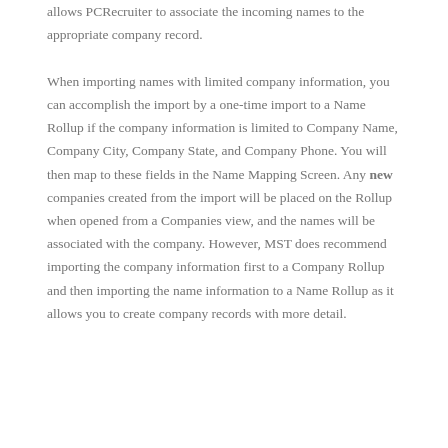allows PCRecruiter to associate the incoming names to the appropriate company record.

When importing names with limited company information, you can accomplish the import by a one-time import to a Name Rollup if the company information is limited to Company Name, Company City, Company State, and Company Phone. You will then map to these fields in the Name Mapping Screen. Any new companies created from the import will be placed on the Rollup when opened from a Companies view, and the names will be associated with the company. However, MST does recommend importing the company information first to a Company Rollup and then importing the name information to a Name Rollup as it allows you to create company records with more detail.